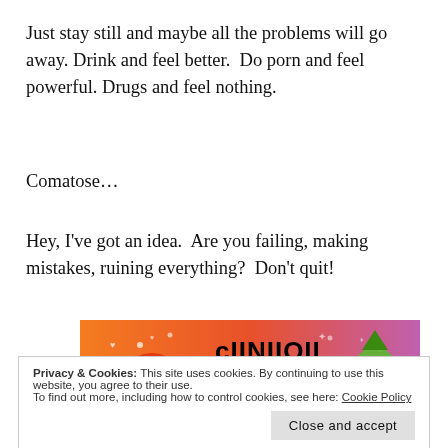Just stay still and maybe all the problems will go away. Drink and feel better.  Do porn and feel powerful. Drugs and feel nothing.
Comatose…
Hey, I've got an idea.  Are you failing, making mistakes, ruining everything?  Don't quit!
[Figure (illustration): Colorful cartoon banner with characters on an orange-to-purple gradient background, with bold black text partially visible reading 'cIINIIOII' or similar stylized word.]
Privacy & Cookies: This site uses cookies. By continuing to use this website, you agree to their use.
To find out more, including how to control cookies, see here: Cookie Policy
Close and accept